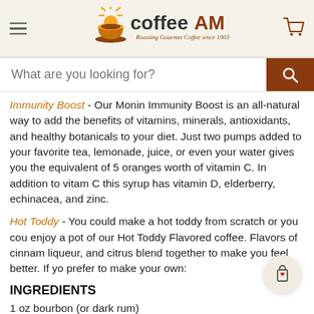coffeeAM — Roasting Gourmet Coffee since 1903
Immunity Boost - Our Monin Immunity Boost is an all-natural way to add the benefits of vitamins, minerals, antioxidants, and healthy botanicals to your diet. Just two pumps added to your favorite tea, lemonade, juice, or even your water gives you the equivalent of 5 oranges worth of vitamin C. In addition to vitamin C this syrup has vitamin D, elderberry, echinacea, and zinc.
Hot Toddy - You could make a hot toddy from scratch or you could enjoy a pot of our Hot Toddy Flavored coffee. Flavors of cinnamon, liqueur, and citrus blend together to make you feel better. If you prefer to make your own:
INGREDIENTS
1 oz bourbon (or dark rum)